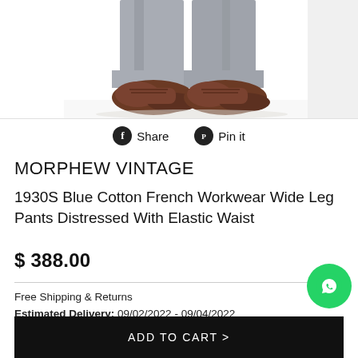[Figure (photo): Bottom portion of a person wearing grey wide-leg trousers and brown leather oxford shoes, cropped at the shins.]
Share   Pin it
MORPHEW VINTAGE
1930S Blue Cotton French Workwear Wide Leg Pants Distressed With Elastic Waist
$ 388.00
Free Shipping & Returns
Estimated Delivery: 09/02/2022 - 09/04/2022
ADD TO CART >